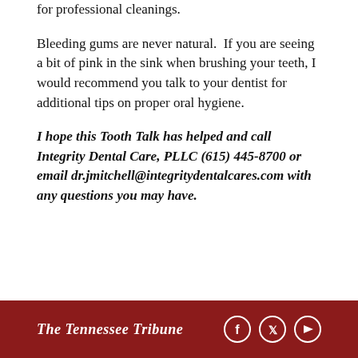for professional cleanings.
Bleeding gums are never natural.  If you are seeing a bit of pink in the sink when brushing your teeth, I would recommend you talk to your dentist for additional tips on proper oral hygiene.
I hope this Tooth Talk has helped and call Integrity Dental Care, PLLC (615) 445-8700 or email dr.jmitchell@integritydentalcares.com with any questions you may have.
The Tennessee Tribune